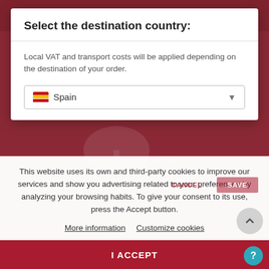Company   Language ▾   Shipping to: 🇪🇸
Select the destination country:
Local VAT and transport costs will be applied depending on the destination of your order.
🇪🇸 Spain
This website uses its own and third-party cookies to improve our services and show you advertising related to your preferences by analyzing your browsing habits. To give your consent to its use, press the Accept button.
More information
Customize cookies
I ACCEPT